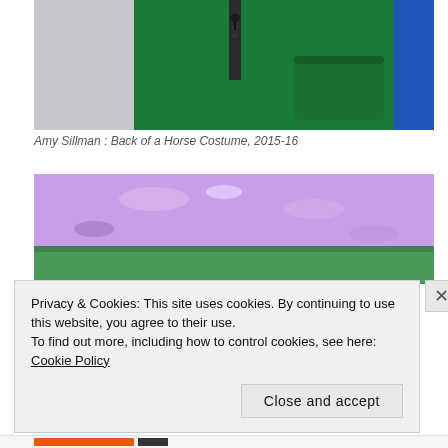[Figure (photo): Photo of a person wearing a green costume/jacket with a zipper and blue sleeve visible, against a light gray wall background. This appears to be a back view of a horse costume.]
Amy Sillman : Back of a Horse Costume, 2015-16
[Figure (photo): Abstract painting or textured surface showing purple/lavender and green colors with a rough, layered texture.]
Privacy & Cookies: This site uses cookies. By continuing to use this website, you agree to their use.
To find out more, including how to control cookies, see here: Cookie Policy
Close and accept